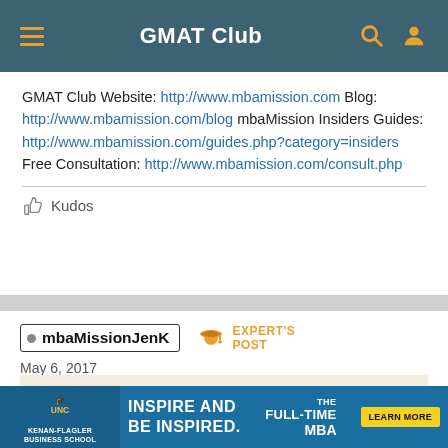GMAT Club
GMAT Club Website: http://www.mbamission.com Blog: http://www.mbamission.com/blog mbaMission Insiders Guides: http://www.mbamission.com/guides.php?category=insiders Free Consultation: http://www.mbamission.com/consult.php
Kudos
mbaMissionJenK   EXPERT'S POST
May 6, 2017
FROM MBAMISSION BLOG: MBA
[Figure (photo): UNC Kenan-Flagler Business School advertisement banner: Inspire and Be Inspired, The Full-Time MBA, Learn More button]